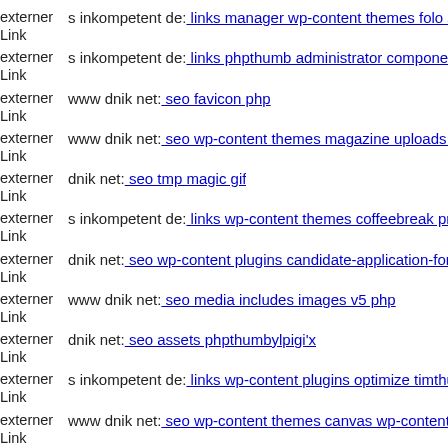externer Link  s inkompetent de: links manager wp-content themes folo sty
externer Link  s inkompetent de: links phpthumb administrator component
externer Link  www dnik net: seo favicon php
externer Link  www dnik net: seo wp-content themes magazine uploads xa
externer Link  dnik net: seo tmp magic gif
externer Link  s inkompetent de: links wp-content themes coffeebreak pro
externer Link  dnik net: seo wp-content plugins candidate-application-form
externer Link  www dnik net: seo media includes images v5 php
externer Link  dnik net: seo assets phpthumbylpigi'x
externer Link  s inkompetent de: links wp-content plugins optimize timthu
externer Link  www dnik net: seo wp-content themes canvas wp-content p